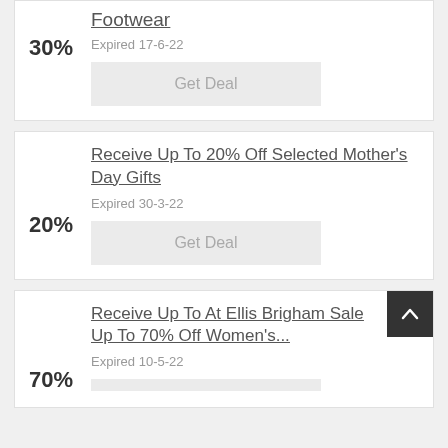30%
Footwear
Expired 17-6-22
Get Deal
Receive Up To 20% Off Selected Mother's Day Gifts
20%
Expired 30-3-22
Get Deal
Receive Up To At Ellis Brigham Sale Up To 70% Off Women's...
70%
Expired 10-5-22